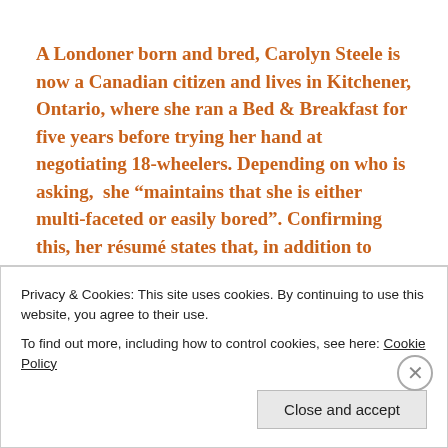A Londoner born and bred, Carolyn Steele is now a Canadian citizen and lives in Kitchener, Ontario, where she ran a Bed & Breakfast for five years before trying her hand at negotiating 18-wheelers. Depending on who is asking,  she “maintains that she is either multi-faceted or easily bored”. Confirming this, her résumé states that, in addition to being a lady trucker, she has also been a psychologist and a London
Privacy & Cookies: This site uses cookies. By continuing to use this website, you agree to their use.
To find out more, including how to control cookies, see here: Cookie Policy